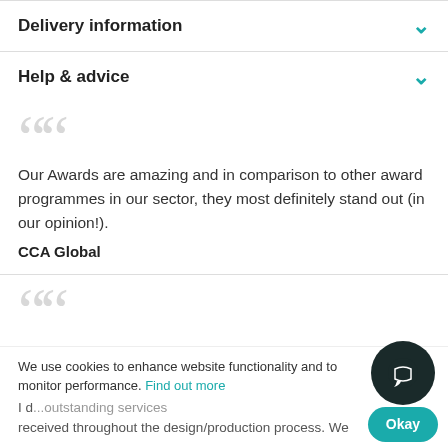Delivery information
Help & advice
Our Awards are amazing and in comparison to other award programmes in our sector, they most definitely stand out (in our opinion!).
CCA Global
We use cookies to enhance website functionality and to monitor performance. Find out more